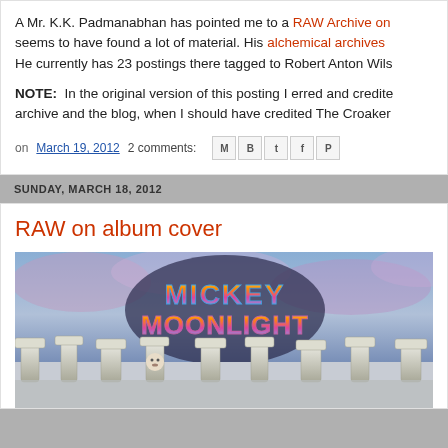A Mr. K.K. Padmanabhan has pointed me to a RAW Archive on... seems to have found a lot of material. His alchemical archives... He currently has 23 postings there tagged to Robert Anton Wils...
NOTE: In the original version of this posting I erred and credited... archive and the blog, when I should have credited The Croaker...
on March 19, 2012   2 comments:
SUNDAY, MARCH 18, 2012
RAW on album cover
[Figure (photo): Album cover for 'Mickey Moonlight' showing colorful gradient text logo over a sky background with Stonehenge-like figures below.]